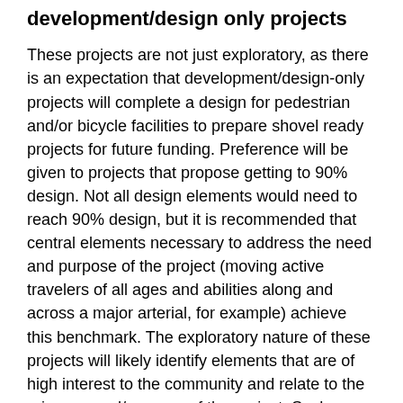development/design only projects
These projects are not just exploratory, as there is an expectation that development/design-only projects will complete a design for pedestrian and/or bicycle facilities to prepare shovel ready projects for future funding. Preference will be given to projects that propose getting to 90% design. Not all design elements would need to reach 90% design, but it is recommended that central elements necessary to address the need and purpose of the project (moving active travelers of all ages and abilities along and across a major arterial, for example) achieve this benchmark. The exploratory nature of these projects will likely identify elements that are of high interest to the community and relate to the primary need/purpose of the project. Such elements can be